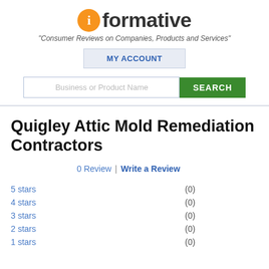[Figure (logo): iformative logo: orange circle with white 'i', followed by bold text 'formative']
"Consumer Reviews on Companies, Products and Services"
MY ACCOUNT
[Figure (screenshot): Search bar with placeholder 'Business or Product Name' and green SEARCH button]
Quigley Attic Mold Remediation Contractors
0 Review | Write a Review
5 stars   (0)
4 stars   (0)
3 stars   (0)
2 stars   (0)
1 stars   (0)